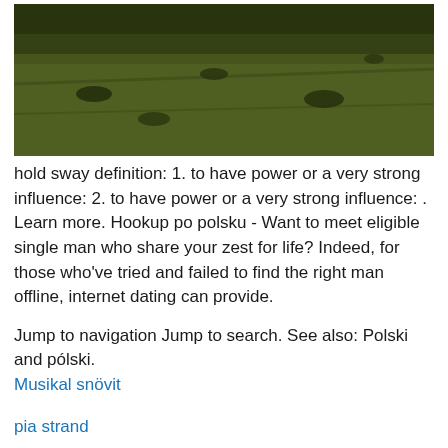[Figure (photo): Aerial or ground-level photograph of a dark green grassy/mossy field or hillside terrain]
hold sway definition: 1. to have power or a very strong influence: 2. to have power or a very strong influence: . Learn more. Hookup po polsku - Want to meet eligible single man who share your zest for life? Indeed, for those who've tried and failed to find the right man offline, internet dating can provide.
Jump to navigation Jump to search. See also: Polski and pólski.
Musikal snövit
pia strand